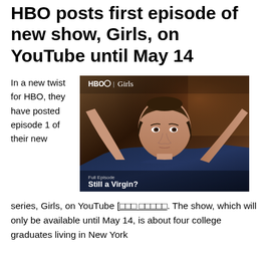HBO posts first episode of new show, Girls, on YouTube until May 14
In a new twist for HBO, they have posted episode 1 of their new series, Girls, on YouTube [underlined text]. The show, which will only be available until May 14, is about four college graduates living in New York
[Figure (photo): Screenshot from HBO Girls YouTube video showing a young woman with hands behind her head, with HBO logo and Girls text at top, and 'Full Episode / Still a Virgin?' text at bottom]